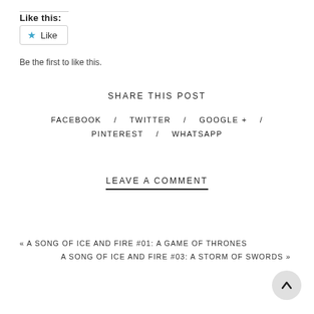Like this:
[Figure (other): Like button with star icon]
Be the first to like this.
SHARE THIS POST
FACEBOOK / TWITTER / GOOGLE + / PINTEREST / WHATSAPP
LEAVE A COMMENT
« A SONG OF ICE AND FIRE #01: A GAME OF THRONES
A SONG OF ICE AND FIRE #03: A STORM OF SWORDS »
[Figure (other): Back to top button with upward arrow]